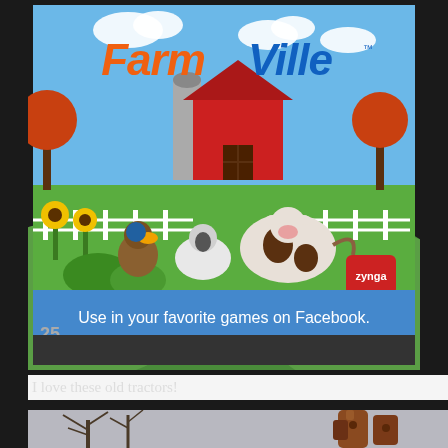[Figure (photo): A FarmVille gift card displayed on a store shelf. The card shows the FarmVille logo with cartoon farm animals (cow, sheep, duck/chicken) and a red barn scene. Text at the bottom reads 'Use in your favorite games on Facebook.' A Red Lobster gift card is partially visible below on the same rack.]
I love these old tractors!
[Figure (photo): Bottom portion of a photo showing bare winter trees and what appears to be rusty old farm equipment or machinery.]